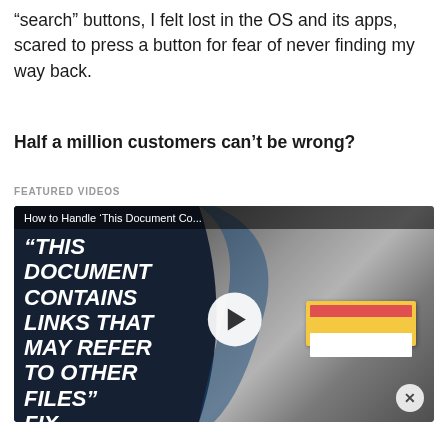“search” buttons, I felt lost in the OS and its apps, scared to press a button for fear of never finding my way back.
Half a million customers can’t be wrong?
FEATURED VIDEOS
[Figure (screenshot): Video thumbnail showing text: '“THIS DOCUMENT CONTAINS LINKS THAT MAY REFER TO OTHER FILES” FIX' with a play button in the center, title bar reading 'How to Handle ‘This Document Co...’', a close button at bottom right, and a dialog box overlay on the right side.]